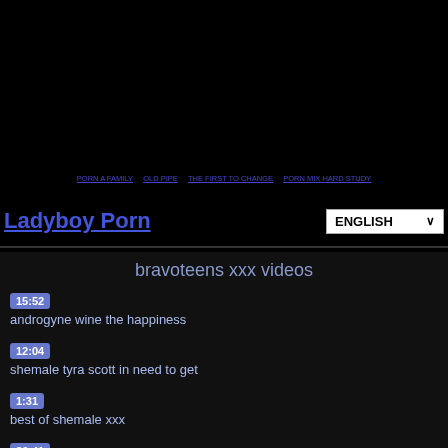[Figure (screenshot): Black area representing video player or banner at top of page]
Navigation links: PORN A FAMILY | OLD PIPE | THE FIRST TO CHANGE | PORN MIX HARD STUDY
Ladyboy Porn | ENGLISH dropdown
bravoteens xxx videos
15:52 androgyne wine the happiness
12:04 shemale tyra scott in need to get
1:31 best of shemale xxx
36:41 drenched whorefare i of ii a
29:21 the logic of god a symphony in the
52:56 drenched whorefare ii of ii a